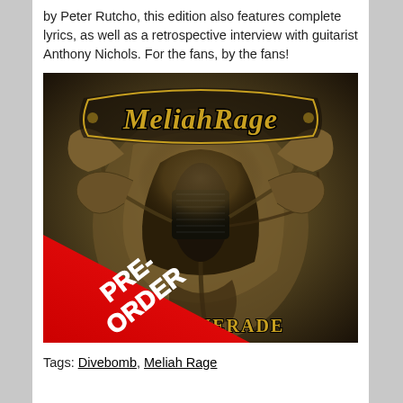by Peter Rutcho, this edition also features complete lyrics, as well as a retrospective interview with guitarist Anthony Nichols. For the fans, by the fans!
[Figure (illustration): Meliah Rage album cover showing a mechanical/alien creature in dark golden tones with the band name 'Meliah Rage' at the top and partial album title '...UERADE' at the bottom. A red diagonal banner in the lower-left corner reads 'PRE-ORDER' in bold white text.]
Tags: Divebomb, Meliah Rage